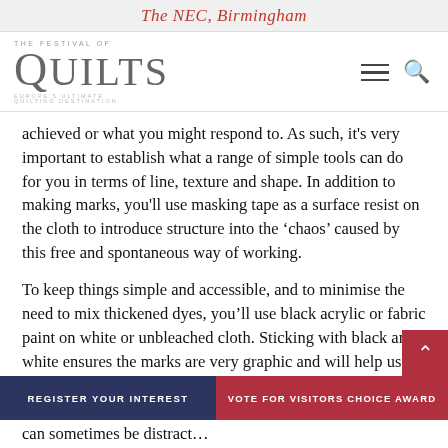The NEC, Birmingham
[Figure (logo): The Festival of Quilts logo — Europe's Ultimate Quilting Destination]
achieved or what you might respond to. As such, it's very important to establish what a range of simple tools can do for you in terms of line, texture and shape. In addition to making marks, you'll use masking tape as a surface resist on the cloth to introduce structure into the 'chaos' caused by this free and spontaneous way of working.
To keep things simple and accessible, and to minimise the need to mix thickened dyes, you'll use black acrylic or fabric paint on white or unbleached cloth. Sticking with black and white ensures the marks are very graphic and will help us to stay
can sometimes be distract…